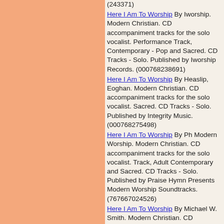(243371)
Here I Am To Worship By Iworship. Modern Christian. CD accompaniment tracks for the solo vocalist. Performance Track, Contemporary - Pop and Sacred. CD Tracks - Solo. Published by Iworship Records. (000768238691)
Here I Am To Worship By Heaslip, Eoghan. Modern Christian. CD accompaniment tracks for the solo vocalist. Sacred. CD Tracks - Solo. Published by Integrity Music. (000768275498)
Here I Am To Worship By Ph Modern Worship. Modern Christian. CD accompaniment tracks for the solo vocalist. Track, Adult Contemporary and Sacred. CD Tracks - Solo. Published by Praise Hymn Presents Modern Worship Soundtracks. (767667024526)
Here I Am To Worship By Michael W. Smith. Modern Christian. CD accompaniment tracks for the solo vocalist. Track, Adult Contemporary and Sacred. CD Tracks - Solo. Published by Praise Hymn. (767667023727)
Here I Am To Worship By Michael W.